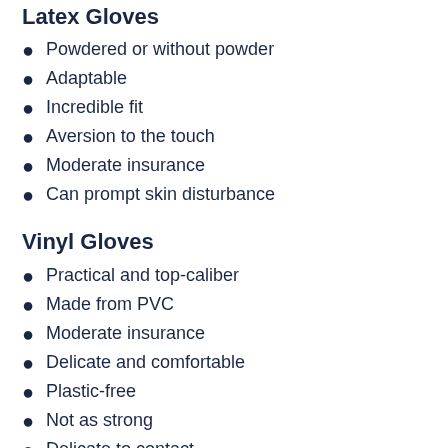Latex Gloves
Powdered or without powder
Adaptable
Incredible fit
Aversion to the touch
Moderate insurance
Can prompt skin disturbance
Vinyl Gloves
Practical and top-caliber
Made from PVC
Moderate insurance
Delicate and comfortable
Plastic-free
Not as strong
Delicate to contact
Nitrile Gloves
Sans protein
Plastic-free